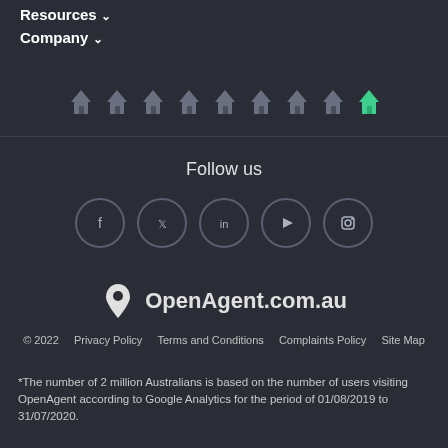Resources ∨
Company ∨
[Figure (illustration): Row of small grey house icons with the last one highlighted in green]
Follow us
[Figure (illustration): Social media icons in circles: Facebook, Twitter, LinkedIn, YouTube, Instagram]
[Figure (logo): OpenAgent.com.au logo with person icon]
© 2022   Privacy Policy   Terms and Conditions   Complaints Policy   Site Map
*The number of 2 million Australians is based on the number of users visiting OpenAgent according to Google Analytics for the period of 01/08/2019 to 31/07/2020.